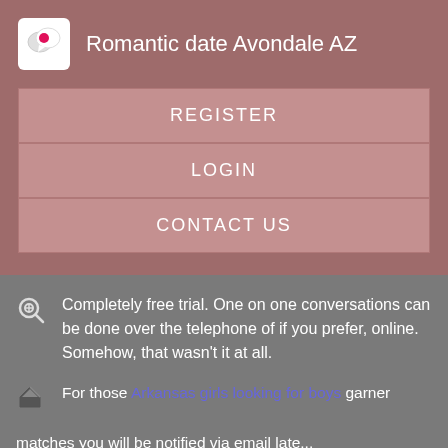Romantic date Avondale AZ
REGISTER
LOGIN
CONTACT US
Completely free trial. One on one conversations can be done over the telephone of if you prefer, online. Somehow, that wasn't it at all.
For those Arkansas girls looking for boys garner matches you will be notified via email late...